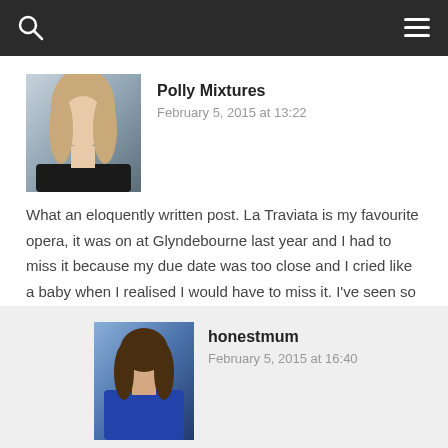Navigation bar with search and menu icons
Polly Mixtures
February 5, 2015 at 13:22
What an eloquently written post. La Traviata is my favourite opera, it was on at Glyndebourne last year and I had to miss it because my due date was too close and I cried like a baby when I realised I would have to miss it. I've seen so many operas but nothing tugs at your heart strings the way La Traviata does. Great review. P x
↳ REPLY
honestmum
February 5, 2015 at 16:40
Totally agree, it really does, it stands out as my favourite too, sorry you missed it last year-your own production had it's premiere though 😊 x